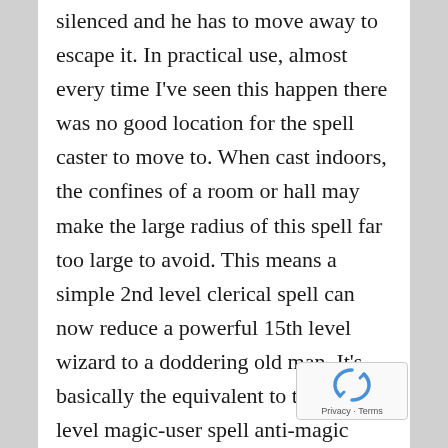silenced and he has to move away to escape it. In practical use, almost every time I've seen this happen there was no good location for the spell caster to move to. When cast indoors, the confines of a room or hall may make the large radius of this spell far too large to avoid. This means a simple 2nd level clerical spell can now reduce a powerful 15th level wizard to a doddering old man. It's basically the equivalent to the 6th level magic-user spell anti-magic shell.
OK, so how do we fix this? Well, first off we must decide what the intent of the spell is. If it